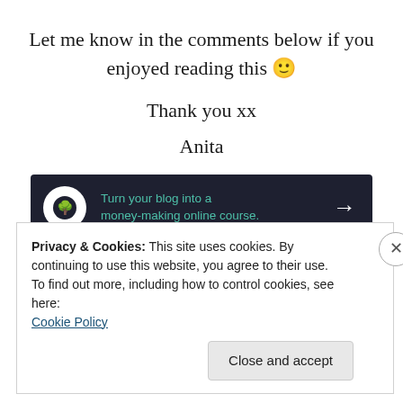Let me know in the comments below if you enjoyed reading this 🙂
Thank you xx
Anita
[Figure (other): Dark banner ad: bonsai tree icon in white circle, teal text 'Turn your blog into a money-making online course.' with white right arrow on dark navy background]
REPORT THIS AD
Privacy & Cookies: This site uses cookies. By continuing to use this website, you agree to their use.
To find out more, including how to control cookies, see here:
Cookie Policy

Close and accept